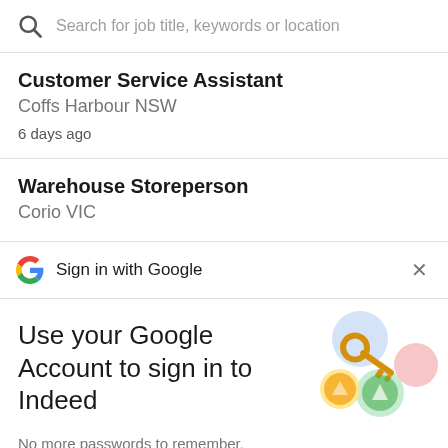Search for job title, keywords or location
Customer Service Assistant
Coffs Harbour NSW
6 days ago
Warehouse Storeperson
Corio VIC
Sign in with Google
Use your Google Account to sign in to Indeed
No more passwords to remember. Signing in is fast, simple and secure.
[Figure (illustration): Google key illustration with colorful circles and a golden key]
Continue